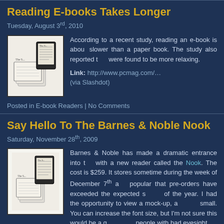Reading E-books Takes Longer
Tuesday, August 3rd, 2010
According to a recent study, reading an e-book is about slower than a paper book. The study also reported that were found to be more relaxing.
Link: http://www.pcmag.com/…
(via Slashdot)
Posted in E-book Readers | No Comments
Say Hello To The Barnes & Noble Nook
Saturday, November 28th, 2009
Barnes & Noble has made a dramatic entrance into the market with a new reader called the Nook. The cost is $259. It stores sometime during the week of December 7th and popular that pre-orders have exceeded the expected supply of the year. I had the opportunity to view a mock-up, and small. You can increase the font size, but I'm not sure this would be a good for people with bad eyesight.
An advantage of the Nook is that it supports a variety of e-book formats